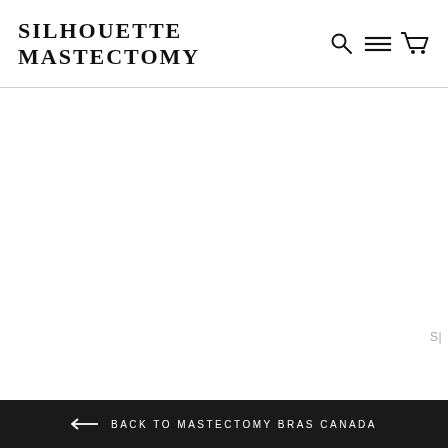SILHOUETTE MASTECTOMY
[Figure (other): Navigation icons: search (magnifying glass), menu (hamburger lines), and cart (shopping cart) icons in the top right of the header]
S|
← BACK TO MASTECTOMY BRAS CANADA